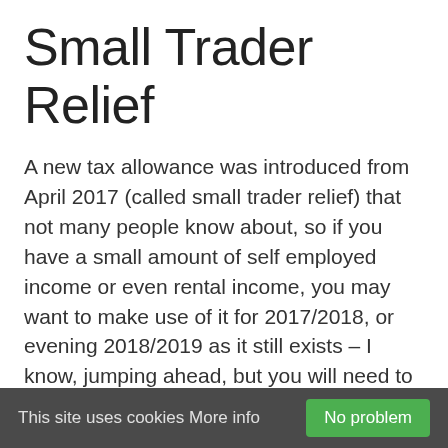Small Trader Relief
A new tax allowance was introduced from April 2017 (called small trader relief) that not many people know about, so if you have a small amount of self employed income or even rental income, you may want to make use of it for 2017/2018, or evening 2018/2019 as it still exists – I know, jumping ahead, but you will need to keep appropriate records. What is this new allowance? I hear you say. Listen up
This site uses cookies More info   No problem